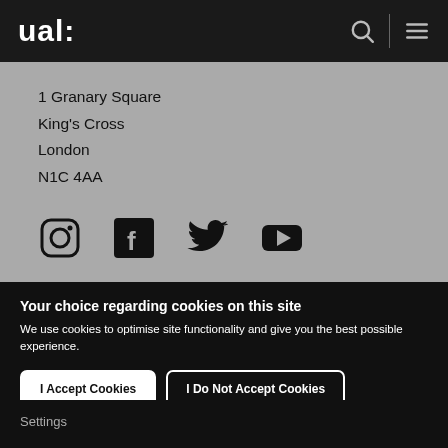ual:
1 Granary Square
King's Cross
London
N1C 4AA
[Figure (infographic): Social media icons: Instagram, Facebook, Twitter, YouTube]
Your choice regarding cookies on this site
We use cookies to optimise site functionality and give you the best possible experience.
I Accept Cookies
I Do Not Accept Cookies
Settings